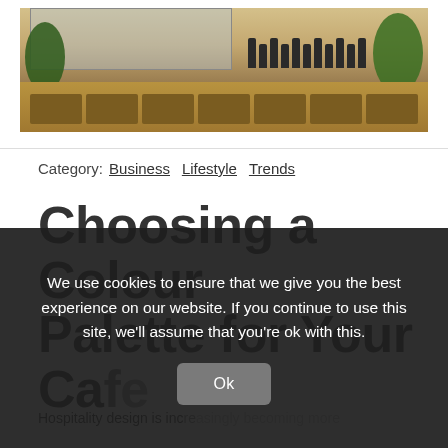[Figure (photo): Interior photo of a cafe/retail space showing a wooden counter with drawers, plants, bottles, and large windows]
Category:  Business  Lifestyle  Trends
Choosing a Colour Palette for Your Cafe
Hospitality design is increasingly becoming more
We use cookies to ensure that we give you the best experience on our website. If you continue to use this site, we'll assume that you're ok with this.